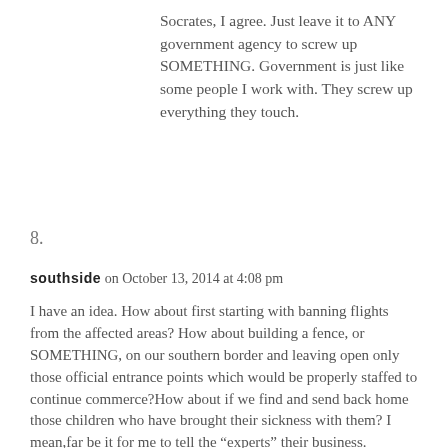Socrates, I agree. Just leave it to ANY government agency to screw up SOMETHING. Government is just like some people I work with. They screw up everything they touch.
8.
southside on October 13, 2014 at 4:08 pm
I have an idea. How about first starting with banning flights from the affected areas? How about building a fence, or SOMETHING, on our southern border and leaving open only those official entrance points which would be properly staffed to continue commerce?How about if we find and send back home those children who have brought their sickness with them? I mean,far be it for me to tell the “experts” their business.